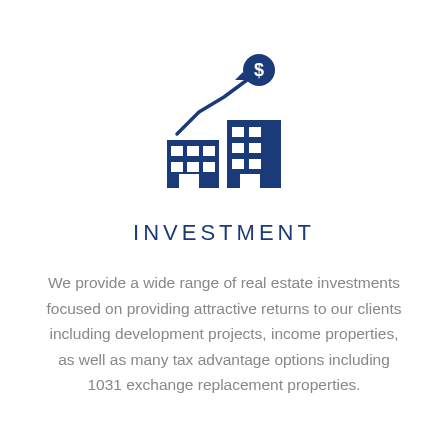[Figure (illustration): Blue icon showing two commercial/office buildings with a rising arrow and a dollar sign coin above them, representing real estate investment]
INVESTMENT
We provide a wide range of real estate investments focused on providing attractive returns to our clients including development projects, income properties, as well as many tax advantage options including 1031 exchange replacement properties.